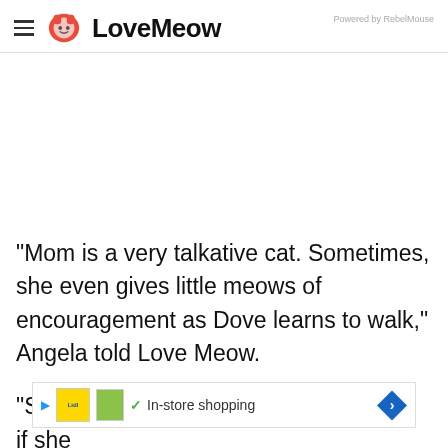LoveMeow — Powered by RebelMouse
"Mom is a very talkative cat. Sometimes, she even gives little meows of encouragement as Dove learns to walk," Angela told Love Meow.
"She ... l cry if she x
[Figure (screenshot): Advertisement banner: Lidl grocery store ad with 'In-store shopping' text, play button, product image, checkmark, and blue diamond arrow button]